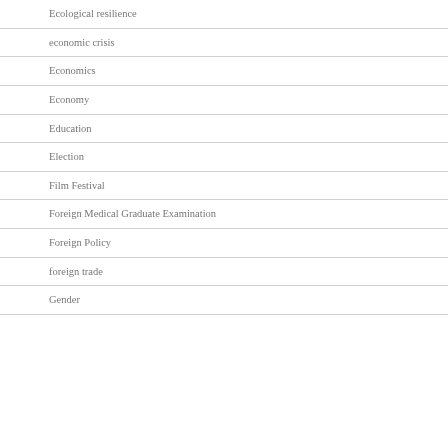Ecological resilience
economic crisis
Economics
Economy
Education
Election
Film Festival
Foreign Medical Graduate Examination
Foreign Policy
foreign trade
Gender